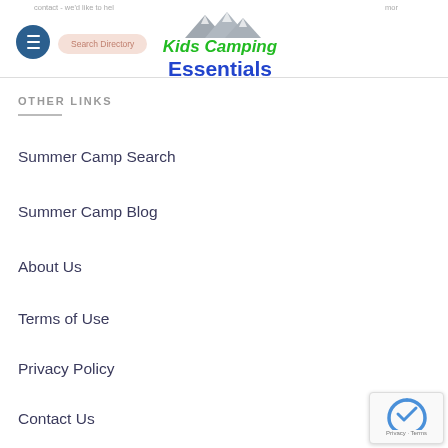Kids Camping Essentials
OTHER LINKS
Summer Camp Search
Summer Camp Blog
About Us
Terms of Use
Privacy Policy
Contact Us
[Figure (logo): reCAPTCHA badge with Privacy and Terms links]